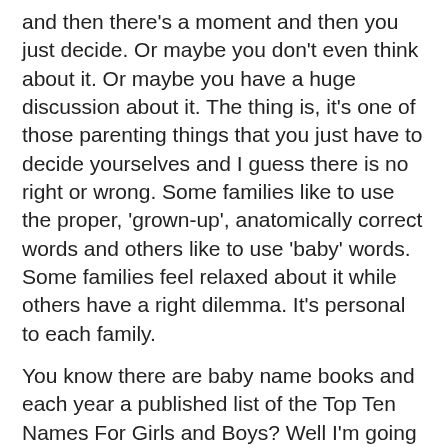and then there's a moment and then you just decide. Or maybe you don't even think about it. Or maybe you have a huge discussion about it. The thing is, it's one of those parenting things that you just have to decide yourselves and I guess there is no right or wrong. Some families like to use the proper, 'grown-up', anatomically correct words and others like to use 'baby' words. Some families feel relaxed about it while others have a right dilemma. It's personal to each family.
You know there are baby name books and each year a published list of the Top Ten Names For Girls and Boys? Well I'm going to help you out even further and give you a list of names for Penis and Vagina, because, you know, it's as important as the name as the child themselves - it's used probably just as often in the early years innit. I've done, errrr, extensive research on Twitter to get these lists:
TOP TEN NAMES FOR GIRL'S BITS 2012
1. Minnie
2. Tuppence
3. Twinkle
4. Fanfare